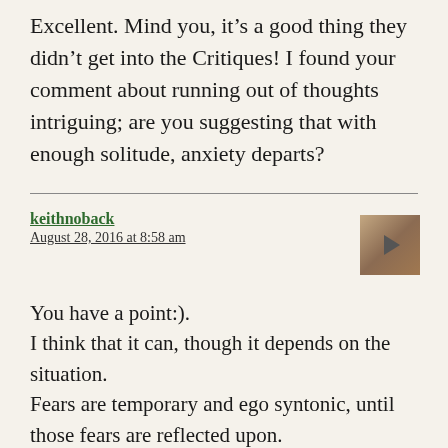Excellent. Mind you, it’s a good thing they didn’t get into the Critiques! I found your comment about running out of thoughts intriguing; are you suggesting that with enough solitude, anxiety departs?
keithnoback
August 28, 2016 at 8:58 am
You have a point:).
I think that it can, though it depends on the situation.
Fears are temporary and ego syntonic, until those fears are reflected upon.
That is easy to say, of course, and I think that the experience of persistent and ego